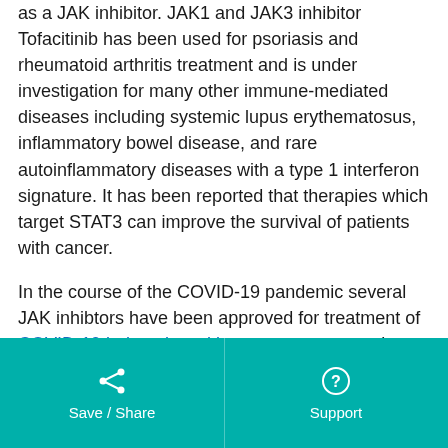as a JAK inhibitor. JAK1 and JAK3 inhibitor Tofacitinib has been used for psoriasis and rheumatoid arthritis treatment and is under investigation for many other immune-mediated diseases including systemic lupus erythematosus, inflammatory bowel disease, and rare autoinflammatory diseases with a type 1 interferon signature. It has been reported that therapies which target STAT3 can improve the survival of patients with cancer.
In the course of the COVID-19 pandemic several JAK inhibtors have been approved for treatment of COVID-19 induced cytokine storm, an excessive inflammatory reaction in which cytokines are rapidly produced in large amount in response to an infection.
The prototypical JAK-STAT signaling pathway is rather linear. There is however considerable crosstalk with other signaling
Save / Share   Support